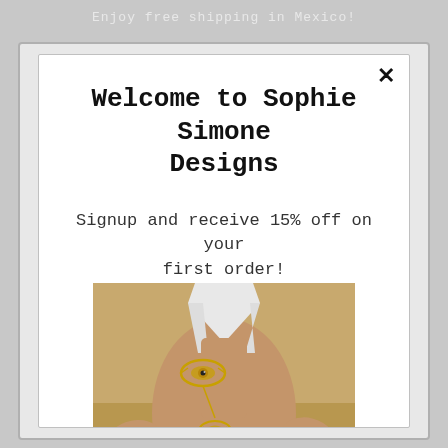Enjoy free shipping in Mexico!
Welcome to Sophie Simone Designs
Signup and receive 15% off on your first order!
[Figure (photo): Person lying on sand wearing gold evil eye jewelry chain on chest and gold bracelet on wrist, with white swimsuit visible]